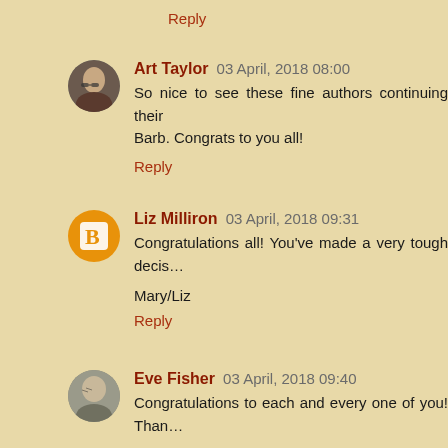Reply
Art Taylor 03 April, 2018 08:00
So nice to see these fine authors continuing their ... Barb. Congrats to you all!
Reply
Liz Milliron 03 April, 2018 09:31
Congratulations all! You've made a very tough decis...

Mary/Liz
Reply
Eve Fisher 03 April, 2018 09:40
Congratulations to each and every one of you! Than...